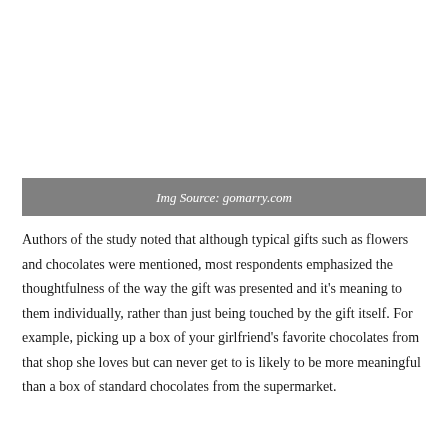[Figure (photo): Image placeholder area above the caption bar]
Img Source: gomarry.com
Authors of the study noted that although typical gifts such as flowers and chocolates were mentioned, most respondents emphasized the thoughtfulness of the way the gift was presented and it’s meaning to them individually, rather than just being touched by the gift itself. For example, picking up a box of your girlfriend’s favorite chocolates from that shop she loves but can never get to is likely to be more meaningful than a box of standard chocolates from the supermarket.